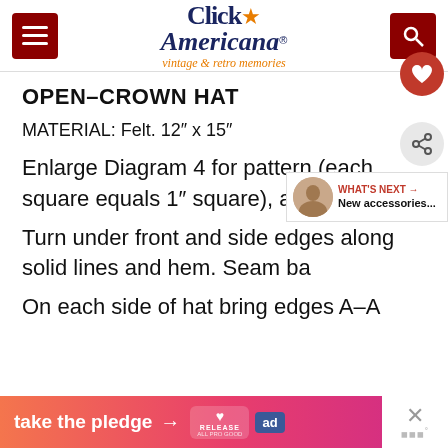Click Americana - vintage & retro memories
OPEN-CROWN HAT
MATERIAL: Felt. 12" x 15"
Enlarge Diagram 4 for pattern (each square equals 1" square), and cut ha
Turn under front and side edges along solid lines and hem. Seam ba
On each side of hat bring edges A-A
[Figure (other): Ad banner: take the pledge with arrow, Release badge, ad tag, close button]
[Figure (other): What's Next widget showing person photo and text: New accessories...]